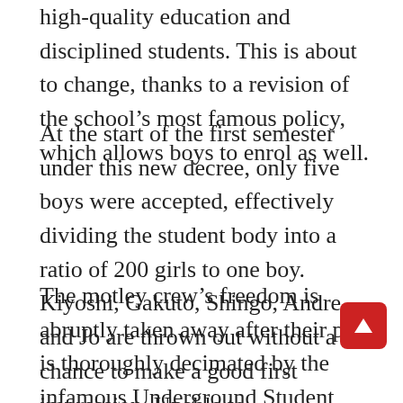high-quality education and disciplined students. This is about to change, thanks to a revision of the school's most famous policy, which allows boys to enrol as well.
At the start of the first semester under this new decree, only five boys were accepted, effectively dividing the student body into a ratio of 200 girls to one boy. Kiyoshi, Gakuto, Shingo, Andre, and Jo are thrown out without a chance to make a good first impression. Unable to communicate with their female classmates, the eager boys embarked on a far more dangerous mission: peeping into the girls' bath!
The motley crew's freedom is abruptly taken away after their plan is thoroughly decimated by the infamous Underground Student Council, as they are thrown into the school's p... and sentenced to an entire month as punishment. Thus begins